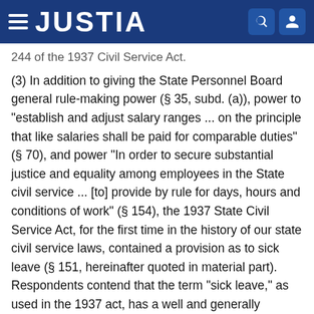JUSTIA
244 of the 1937 Civil Service Act.
(3) In addition to giving the State Personnel Board general rule-making power (§ 35, subd. (a)), power to "establish and adjust salary ranges ... on the principle that like salaries shall be paid for comparable duties" (§ 70), and power "In order to secure substantial justice and equality among employees in the State civil service ... [to] provide by rule for days, hours and conditions of work" (§ 154), the 1937 State Civil Service Act, for the first time in the history of our state civil service laws, contained a provision as to sick leave (§ 151, hereinafter quoted in material part). Respondents contend that the term "sick leave," as used in the 1937 act, has a well and generally understood meaning, namely, [27 Cal. 2d 877] leave granted to one who is himself ill, and that such meaning cannot be enlarged by purported definition or construction by the State Personnel Board.